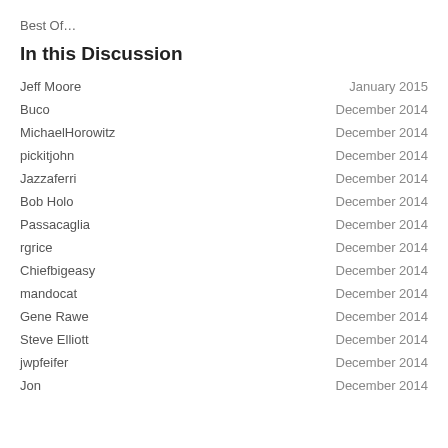Best Of…
In this Discussion
Jeff Moore — January 2015
Buco — December 2014
MichaelHorowitz — December 2014
pickitjohn — December 2014
Jazzaferri — December 2014
Bob Holo — December 2014
Passacaglia — December 2014
rgrice — December 2014
Chiefbigeasy — December 2014
mandocat — December 2014
Gene Rawe — December 2014
Steve Elliott — December 2014
jwpfeifer — December 2014
Jon — December 2014